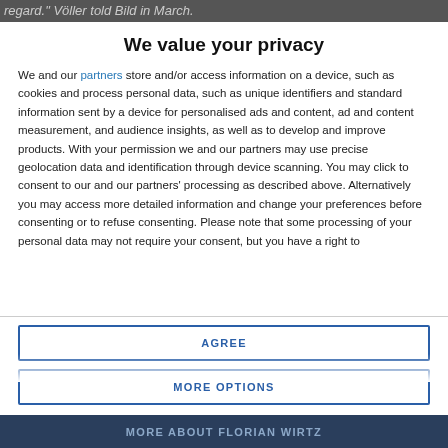regard." Völler told Bild in March.
We value your privacy
We and our partners store and/or access information on a device, such as cookies and process personal data, such as unique identifiers and standard information sent by a device for personalised ads and content, ad and content measurement, and audience insights, as well as to develop and improve products. With your permission we and our partners may use precise geolocation data and identification through device scanning. You may click to consent to our and our partners' processing as described above. Alternatively you may access more detailed information and change your preferences before consenting or to refuse consenting. Please note that some processing of your personal data may not require your consent, but you have a right to
AGREE
MORE OPTIONS
MORE ABOUT FLORIAN WIRTZ